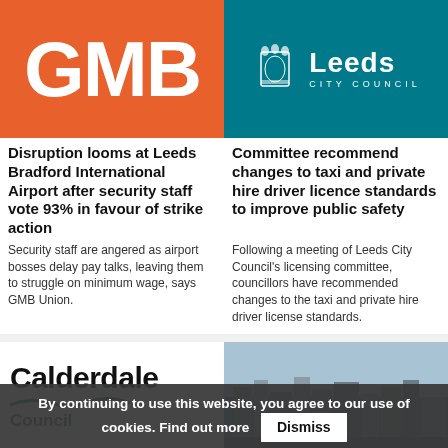[Figure (logo): GMB union logo — white bold text on orange background]
[Figure (logo): Leeds City Council logo — coat of arms and white text on teal background]
Disruption looms at Leeds Bradford International Airport after security staff vote 93% in favour of strike action
Committee recommend changes to taxi and private hire driver licence standards to improve public safety
Security staff are angered as airport bosses delay pay talks, leaving them to struggle on minimum wage, says GMB Union.
Following a meeting of Leeds City Council's licensing committee, councillors have recommended changes to the taxi and private hire driver license standards.
[Figure (logo): Calderdale Council logo — large bold Calderdale text with Council in green]
[Figure (photo): Aerial cityscape photo]
By continuing to use this website, you agree to our use of cookies. Find out more  Dismiss